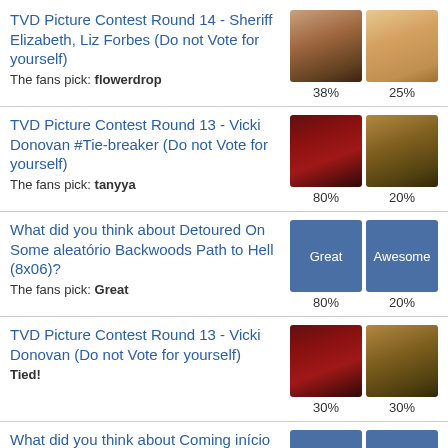TVD Picture Contest Round 14 - Sheriff Elizabeth, Liz Forbes (Do not Vote for yourself)
The fans pick: flowerdrop
38% | 25%
TVD Picture Contest Round 13 - Vicki Donovan #Tie-breaker (Do not Vote for yourself)
The fans pick: tanyya
80% | 20%
What did you think about Detoured On Some aleatório Backwoods Path to Hell (8x06)?
The fans pick: Great
80% | 20%
TVD Picture Contest Round 13 - Vicki Donovan (Do not Vote for yourself)
Tied!
30% | 30%
What did you think about Coming início Was a Mistake (8x05)?
Great | Awesome